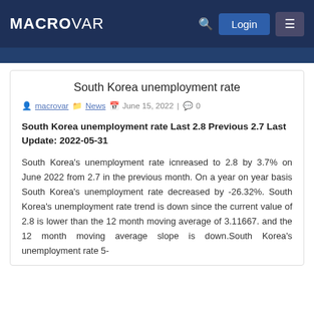MACROVAR
South Korea unemployment rate
macrovar | News | June 15, 2022 | 0
South Korea unemployment rate Last 2.8 Previous 2.7 Last Update: 2022-05-31
South Korea's unemployment rate icnreased to 2.8 by 3.7% on June 2022 from 2.7 in the previous month. On a year on year basis South Korea's unemployment rate decreased by -26.32%. South Korea's unemployment rate trend is down since the current value of 2.8 is lower than the 12 month moving average of 3.11667. and the 12 month moving average slope is down.South Korea's unemployment rate 5-